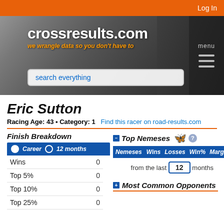Log In
[Figure (screenshot): crossresults.com banner with logo text, subtitle 'we wrangle data so you don't have to', search box, and hamburger menu]
Eric Sutton
Racing Age: 43 • Category: 1   Find this racer on road-results.com
Finish Breakdown
|  | Career | 12 months |
| --- | --- | --- |
| Wins | 0 |
| Top 5% | 0 |
| Top 10% | 0 |
| Top 25% | 0 |
Top Nemeses
| Nemeses | Wins | Losses | Win% | Margin |
| --- | --- | --- | --- | --- |
from the last 12 months
Most Common Opponents